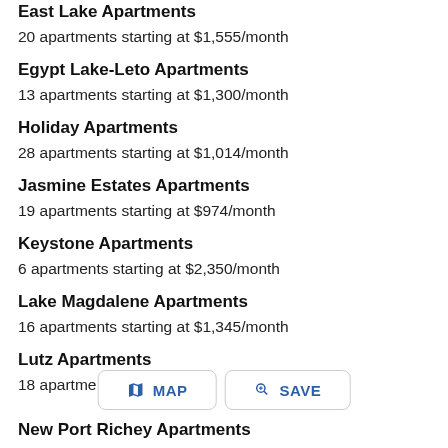East Lake Apartments
20 apartments starting at $1,555/month
Egypt Lake-Leto Apartments
13 apartments starting at $1,300/month
Holiday Apartments
28 apartments starting at $1,014/month
Jasmine Estates Apartments
19 apartments starting at $974/month
Keystone Apartments
6 apartments starting at $2,350/month
Lake Magdalene Apartments
16 apartments starting at $1,345/month
Lutz Apartments
18 apartments starting at $1,…/month
New Port Richey Apartments